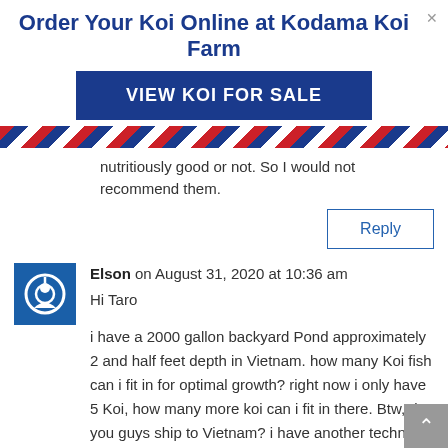Order Your Koi Online at Kodama Koi Farm
[Figure (other): Blue button: VIEW KOI FOR SALE]
[Figure (other): Diagonal red, blue, and white stripes banner]
nutritiously good or not. So I would not recommend them.
[Figure (other): Reply button with blue border]
Elson on August 31, 2020 at 10:36 am
Hi Taro
i have a 2000 gallon backyard Pond approximately 2 and half feet depth in Vietnam. how many Koi fish can i fit in for optimal growth? right now i only have 5 Koi, how many more koi can i fit in there. Btw, do you guys ship to Vietnam? i have another technical